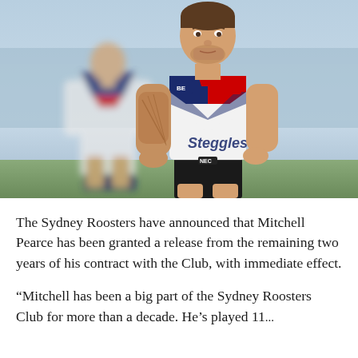[Figure (photo): Two Sydney Roosters rugby league players on a field. The foreground player stands with hands on hips wearing a white Steggles-sponsored Sydney Roosters jersey with red and navy chevron design. A second player is visible blurred in the background, similarly dressed.]
The Sydney Roosters have announced that Mitchell Pearce has been granted a release from the remaining two years of his contract with the Club, with immediate effect.
“Mitchell has been a big part of the Sydney Roosters Club for more than a decade. He’s played 11...